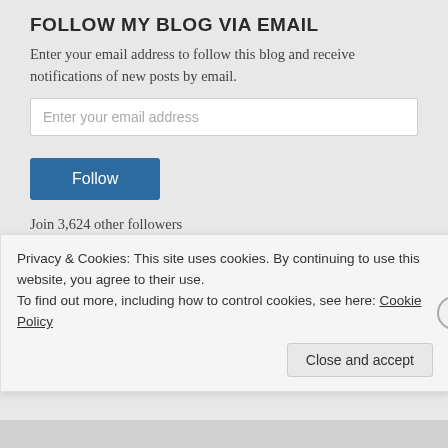FOLLOW MY BLOG VIA EMAIL
Enter your email address to follow this blog and receive notifications of new posts by email.
Join 3,624 other followers
JOIN MY FACEBOOK PAGE
FOLLOW ME ON TWITTER
Privacy & Cookies: This site uses cookies. By continuing to use this website, you agree to their use.
To find out more, including how to control cookies, see here: Cookie Policy